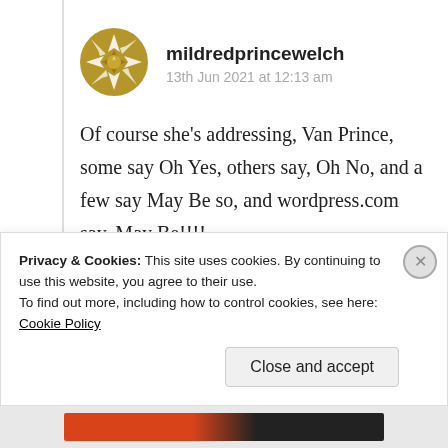[Figure (illustration): Golden/olive colored avatar icon with geometric star/compass pattern]
mildredprincewelch
13th Jun 2021 at 12:13 am
Of course she’s addressing, Van Prince, some say Oh Yes, others say, Oh No, and a few say May Be so, and wordpress.com say, May Be!!!!
★ Liked by 2 people
Privacy & Cookies: This site uses cookies. By continuing to use this website, you agree to their use.
To find out more, including how to control cookies, see here: Cookie Policy
Close and accept